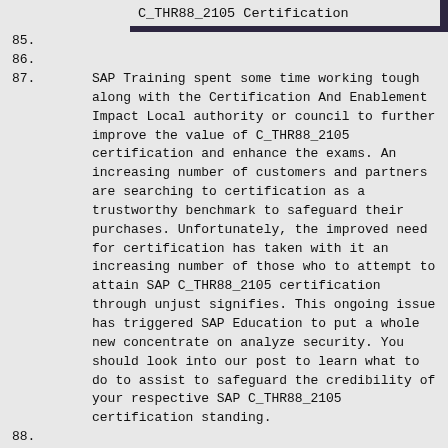C_THR88_2105 Certification
85.
86.
87. SAP Training spent some time working tough along with the Certification And Enablement Impact Local authority or council to further improve the value of C_THR88_2105 certification and enhance the exams. An increasing number of customers and partners are searching to certification as a trustworthy benchmark to safeguard their purchases. Unfortunately, the improved need for certification has taken with it an increasing number of those who to attempt to attain SAP C_THR88_2105 certification through unjust signifies. This ongoing issue has triggered SAP Education to put a whole new concentrate on analyze security. You should look into our post to learn what to do to assist to safeguard the credibility of your respective SAP C_THR88_2105 certification standing.
88.
89.
90. For more information about C_THR88_2105 Exam Guide  you can check